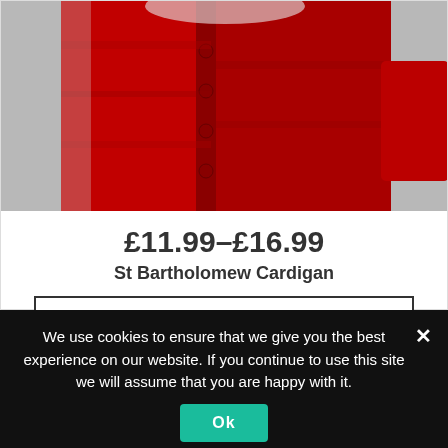[Figure (photo): A red school cardigan/sweater with buttons, shown against a white background. The image is blurred/out of focus.]
£11.99–£16.99
St Bartholomew Cardigan
SELECT OPTIONS
We use cookies to ensure that we give you the best experience on our website. If you continue to use this site we will assume that you are happy with it.
Ok